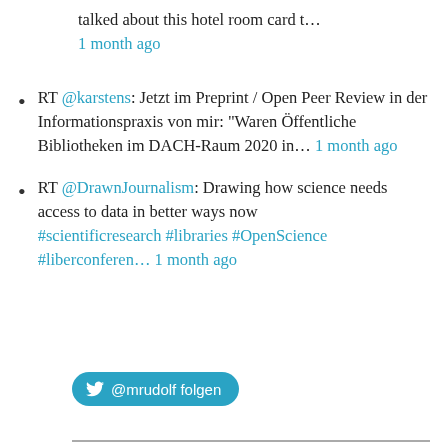talked about this hotel room card t… 1 month ago
RT @karstens: Jetzt im Preprint / Open Peer Review in der Informationspraxis von mir: "Waren Öffentliche Bibliotheken im DACH-Raum 2020 in… 1 month ago
RT @DrawnJournalism: Drawing how science needs access to data in better ways now #scientificresearch #libraries #OpenScience #liberconferen… 1 month ago
@mrudolf folgen